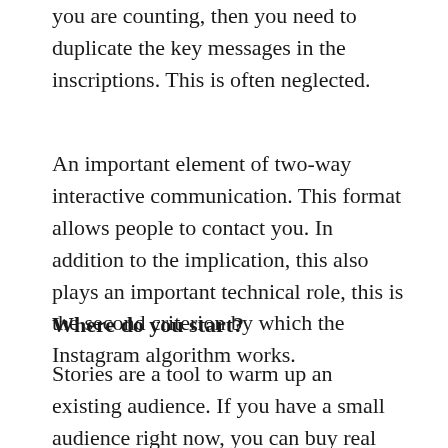you are counting, then you need to duplicate the key messages in the inscriptions. This is often neglected.
An important element of two-way interactive communication. This format allows people to contact you. In addition to the implication, this also plays an important technical role, this is the second criterion by which the Instagram algorithm works.
Where do you start?
Stories are a tool to warm up an existing audience. If you have a small audience right now, you can buy real instagram followers creating an image of popularity. This will